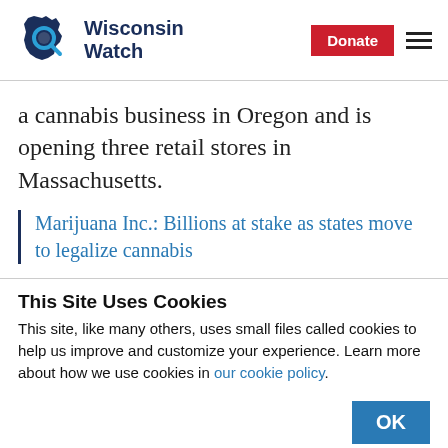Wisconsin Watch | Donate
a cannabis business in Oregon and is opening three retail stores in Massachusetts.
Marijuana Inc.: Billions at stake as states move to legalize cannabis
This Site Uses Cookies
This site, like many others, uses small files called cookies to help us improve and customize your experience. Learn more about how we use cookies in our cookie policy.
OK